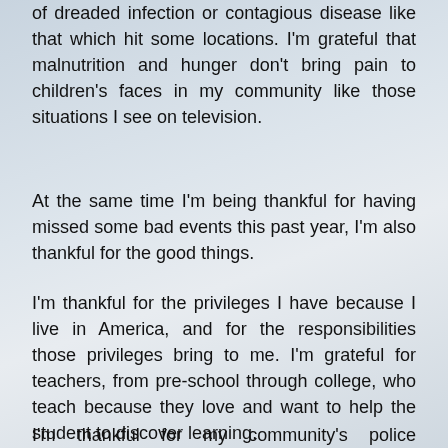of dreaded infection or contagious disease like that which hit some locations. I'm grateful that malnutrition and hunger don't bring pain to children's faces in my community like those situations I see on television.
At the same time I'm being thankful for having missed some bad events this past year, I'm also thankful for the good things.
I'm thankful for the privileges I have because I live in America, and for the responsibilities those privileges bring to me. I'm grateful for teachers, from pre-school through college, who teach because they love and want to help the student to discover learning.
I'm thankful for my community's police department